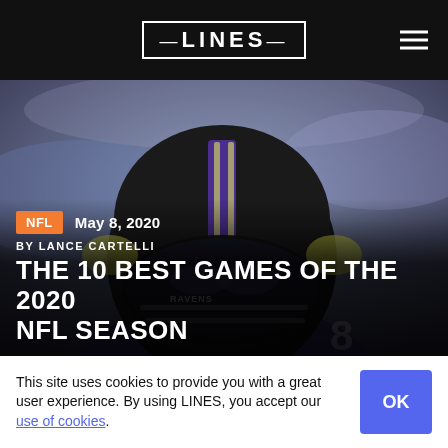LINES
[Figure (photo): Close-up photo of an NFL player wearing a Baltimore Ravens helmet, dark visor, purple jersey with number 8 visible. Background is blurred stadium.]
NFL  May 8, 2020
BY LANCE CARTELLI
THE 10 BEST GAMES OF THE 2020 NFL SEASON
This site uses cookies to provide you with a great user experience. By using LINES, you accept our use of cookies.